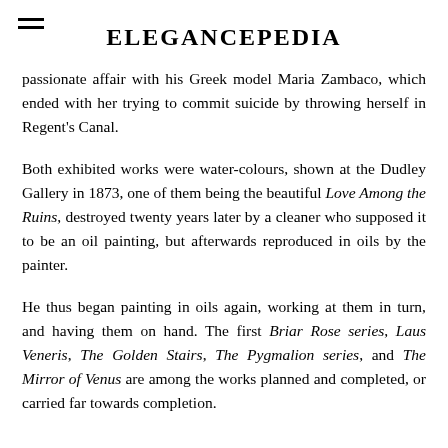ELEGANCEPEDIA
passionate affair with his Greek model Maria Zambaco, which ended with her trying to commit suicide by throwing herself in Regent's Canal.
Both exhibited works were water-colours, shown at the Dudley Gallery in 1873, one of them being the beautiful Love Among the Ruins, destroyed twenty years later by a cleaner who supposed it to be an oil painting, but afterwards reproduced in oils by the painter.
He thus began painting in oils again, working at them in turn, and having them on hand. The first Briar Rose series, Laus Veneris, The Golden Stairs, The Pygmalion series, and The Mirror of Venus are among the works planned and completed, or carried far towards completion.